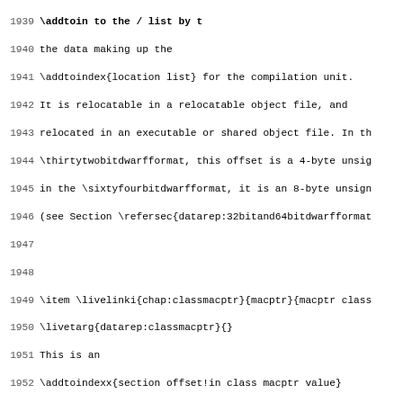Source code listing lines 1939-1971, showing LaTeX/documentation source code for DWARF format specification. Lines include \addtoindex, \item, \livelinki, \livetarg, \addtoindexx, \dotdebugmacro, \DWFORMsecoffset, \thirtytwobitdwarfformat, \sixtyfourbitdwarfformat, \refersec, \needlines commands.